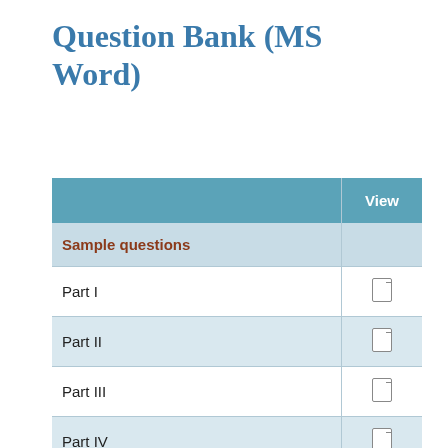Question Bank (MS Word)
|  | View |
| --- | --- |
| Sample questions |  |
| Part I | ☐ |
| Part II | ☐ |
| Part III | ☐ |
| Part IV | ☐ |
| Part V | ☐ |
| Part VI | ☐ |